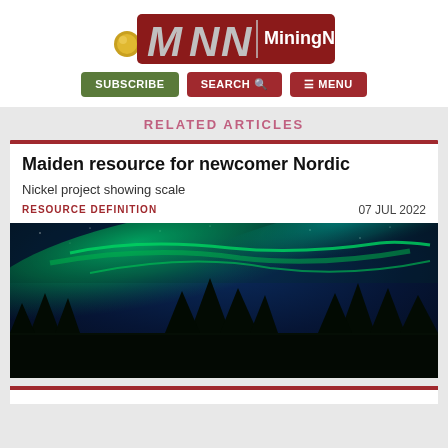[Figure (logo): MiningNews.net logo with stylized MNN letters and text on dark red background]
SUBSCRIBE  SEARCH  MENU
RELATED ARTICLES
Maiden resource for newcomer Nordic
Nickel project showing scale
RESOURCE DEFINITION    07 JUL 2022
[Figure (photo): Aurora borealis (northern lights) in green over dark forest silhouette against blue night sky]